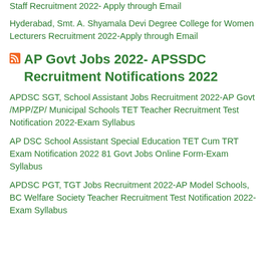Staff Recruitment 2022- Apply through Email
Hyderabad, Smt. A. Shyamala Devi Degree College for Women Lecturers Recruitment 2022-Apply through Email
AP Govt Jobs 2022- APSSDC Recruitment Notifications 2022
APDSC SGT, School Assistant Jobs Recruitment 2022-AP Govt /MPP/ZP/ Municipal Schools TET Teacher Recruitment Test Notification 2022-Exam Syllabus
AP DSC School Assistant Special Education TET Cum TRT Exam Notification 2022 81 Govt Jobs Online Form-Exam Syllabus
APDSC PGT, TGT Jobs Recruitment 2022-AP Model Schools, BC Welfare Society Teacher Recruitment Test Notification 2022-Exam Syllabus